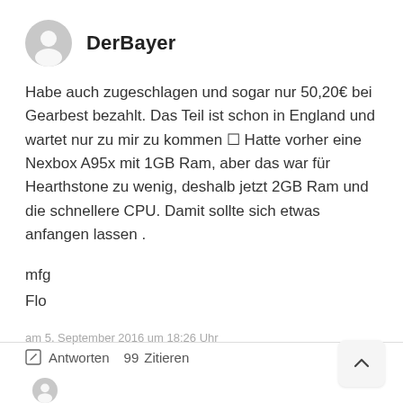[Figure (illustration): Grey circular user avatar icon]
DerBayer
Habe auch zugeschlagen und sogar nur 50,20€ bei Gearbest bezahlt. Das Teil ist schon in England und wartet nur zu mir zu kommen □ Hatte vorher eine Nexbox A95x mit 1GB Ram, aber das war für Hearthstone zu wenig, deshalb jetzt 2GB Ram und die schnellere CPU. Damit sollte sich etwas anfangen lassen .
mfg
Flo
am 5. September 2016 um 18:26 Uhr
Antworten   99   Zitieren